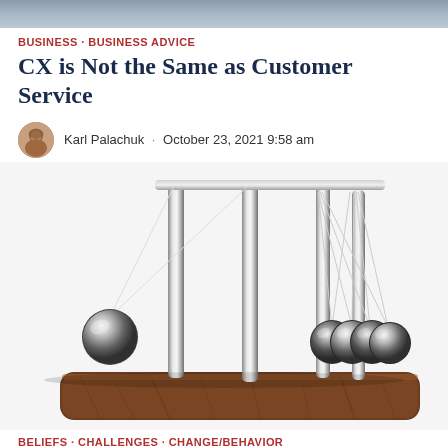BUSINESS · BUSINESS ADVICE
CX is Not the Same as Customer Service
Karl Palachuk · October 23, 2021 9:58 am
[Figure (photo): Newton's cradle with one chrome ball swung out to the left and four chrome balls resting on a wooden base, against a white background.]
BELIEFS · CHALLENGES · CHANGE/BEHAVIOR